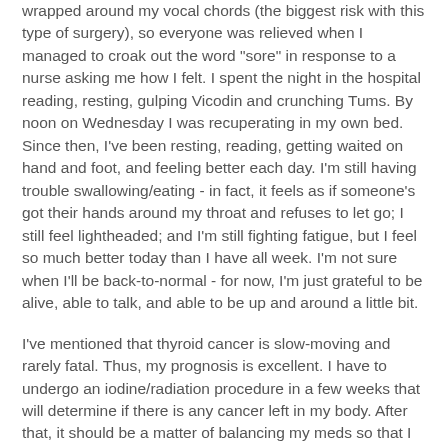wrapped around my vocal chords (the biggest risk with this type of surgery), so everyone was relieved when I managed to croak out the word "sore" in response to a nurse asking me how I felt. I spent the night in the hospital reading, resting, gulping Vicodin and crunching Tums. By noon on Wednesday I was recuperating in my own bed. Since then, I've been resting, reading, getting waited on hand and foot, and feeling better each day. I'm still having trouble swallowing/eating - in fact, it feels as if someone's got their hands around my throat and refuses to let go; I still feel lightheaded; and I'm still fighting fatigue, but I feel so much better today than I have all week. I'm not sure when I'll be back-to-normal - for now, I'm just grateful to be alive, able to talk, and able to be up and around a little bit.
I've mentioned that thyroid cancer is slow-moving and rarely fatal. Thus, my prognosis is excellent. I have to undergo an iodine/radiation procedure in a few weeks that will determine if there is any cancer left in my body. After that, it should be a matter of balancing my meds so that I can feel well again.
Even though thyroid cancer is generally seen as "the best cancer to get" (it still bears some mention about treatment...